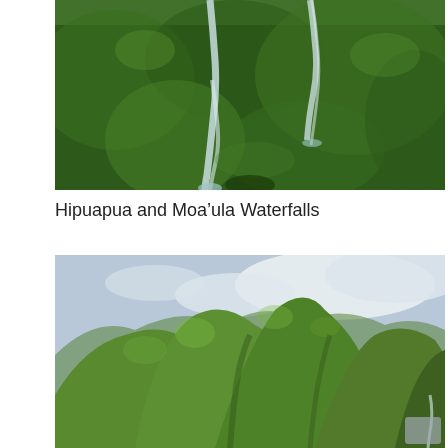[Figure (photo): Aerial view of two tall waterfalls (Hipuapua and Moa'ula) cascading down steep, densely forested green cliffs]
Hipuapua and Moa'ula Waterfalls
[Figure (photo): Aerial view of lush green rounded mountain ridges under a cloudy sky, with a small waterfall visible at the lower right edge]